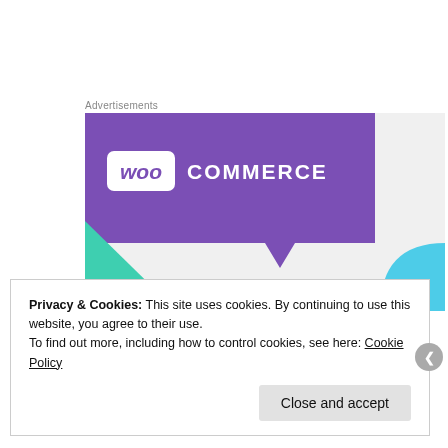Advertisements
[Figure (illustration): WooCommerce advertisement banner showing purple speech bubble logo with 'woo COMMERCE' text, green triangle bottom-left, blue arc bottom-right, and tagline 'How to start selling' on light grey background]
Privacy & Cookies: This site uses cookies. By continuing to use this website, you agree to their use.
To find out more, including how to control cookies, see here: Cookie Policy
Close and accept